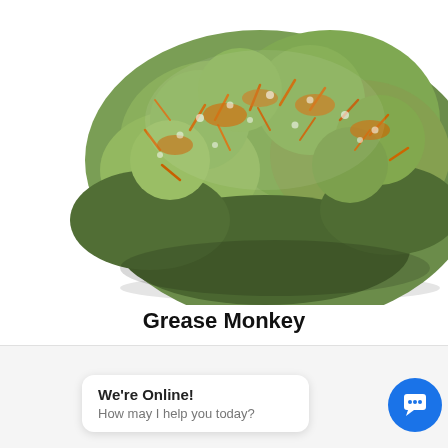[Figure (photo): Close-up photograph of a cannabis bud (Grease Monkey strain) with green and orange coloring against a white background]
Grease Monkey
$22.00 – $260.00
We're Online! How may I help you today?